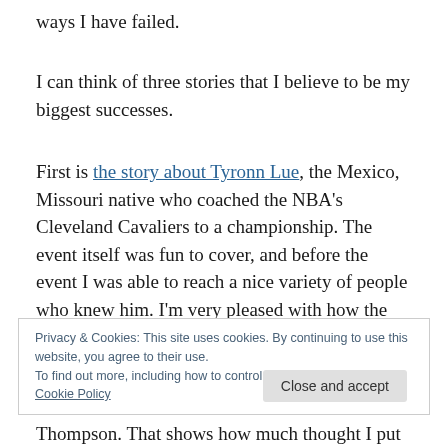ways I have failed.
I can think of three stories that I believe to be my biggest successes.
First is the story about Tyronn Lue, the Mexico, Missouri native who coached the NBA’s Cleveland Cavaliers to a championship. The event itself was fun to cover, and before the event I was able to reach a nice variety of people who knew him. I’m very pleased with how the story turned out.
Privacy & Cookies: This site uses cookies. By continuing to use this website, you agree to their use.
To find out more, including how to control cookies, see here: Cookie Policy
Thompson. That shows how much thought I put